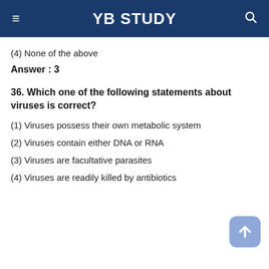YB STUDY
(4) None of the above
Answer : 3
36. Which one of the following statements about viruses is correct?
(1) Viruses possess their own metabolic system
(2) Viruses contain either DNA or RNA
(3) Viruses are facultative parasites
(4) Viruses are readily killed by antibiotics